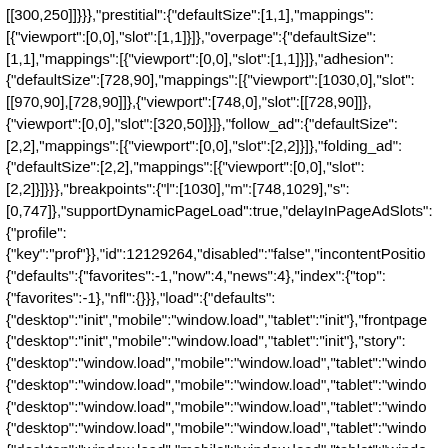[[300,250]]}}},{"prestitial":{"defaultSize":[1,1],"mappings":[{"viewport":[0,0],"slot":[1,1]}]},"overpage":{"defaultSize":[1,1],"mappings":[{"viewport":[0,0],"slot":[1,1]}]},"adhesion":{"defaultSize":[728,90],"mappings":[{"viewport":[1030,0],"slot":[[970,90],[728,90]]},{"viewport":[748,0],"slot":[[728,90]]},{"viewport":[0,0],"slot":[320,50]}]},"follow_ad":{"defaultSize":[2,2],"mappings":[{"viewport":[0,0],"slot":[2,2]}]},"folding_ad":{"defaultSize":[2,2],"mappings":[{"viewport":[0,0],"slot":[2,2]}]}},"breakpoints":{"l":[1030],"m":[748,1029],"s":[0,747]},"supportDynamicPageLoad":true,"delayInPageAdSlots":{"profile":{"key":"prof"}},"id":12129264,"disabled":"false","incontentPosition":{"defaults":{"favorites":-1,"now":4,"news":4},"index":{"top":{"favorites":-1},"nfl":{}}},"load":{"defaults":{"desktop":"init","mobile":"window.load","tablet":"init"},"frontpage":{"desktop":"init","mobile":"window.load","tablet":"init"},"story":{"desktop":"window.load","mobile":"window.load","tablet":"windo…{"desktop":"window.load","mobile":"window.load","tablet":"windo…{"desktop":"window.load","mobile":"window.load","tablet":"windo…{"desktop":"window.load","mobile":"window.load","tablet":"windo…{"desktop":"window.load","mobile":"window.load","tablet":"windo…{"usePreBid":true},"level":"ktrk/abc13.com/web/home"},"analytics":{"accountID":"wdgotvktrkresponsive","ns":"abcotv","pageName":"check-out-this-hidden-gem-in-river-…